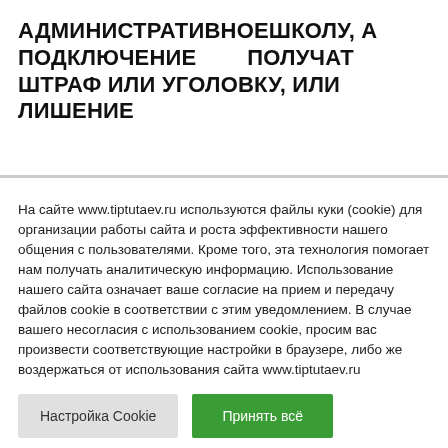АДМИНИСТРАТИВНОЕШКОЛУ, А ПОДКЛЮЧЕНИЕ          ПОЛУЧАТ ШТРАФ ИЛИ УГОЛОВКУ, ИЛИ ЛИШЕНИЕ
На сайте www.tiptutaev.ru используются файлы куки (cookie) для организации работы сайта и роста эффективности нашего общения с пользователями. Кроме того, эта технология помогает нам получать аналитическую информацию. Использование нашего сайта означает ваше согласие на прием и передачу файлов cookie в соответствии с этим уведомлением. В случае вашего несогласия с использованием cookie, просим вас произвести соответствующие настройки в браузере, либо же воздержаться от использования сайта www.tiptutaev.ru
Настройка Cookie | Принять всё